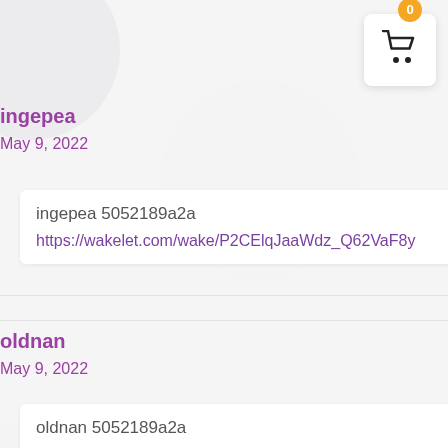[Figure (other): Shopping cart icon with orange badge showing '0' in top right corner]
ingepea
May 9, 2022
ingepea 5052189a2a
https://wakelet.com/wake/P2CElqJaaWdz_Q62VaF8y
oldnan
May 9, 2022
oldnan 5052189a2a
https://wakelet.com/wake/DAMYcBttTROoI75c89...